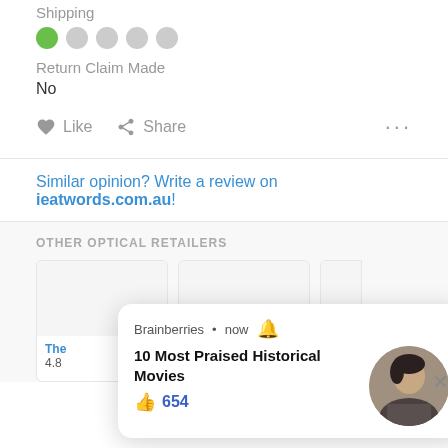Shipping
Return Claim Made
No
Like   Share   ...
Similar opinion? Write a review on ieatwords.com.au!
OTHER OPTICAL RETAILERS
[Figure (screenshot): Brainberries notification popup with text '10 Most Praised Historical Movies', 654 likes, a movie still image, and a close button]
The...  4.80
Brainberries • now 🔔 10 Most Praised Historical Movies 654